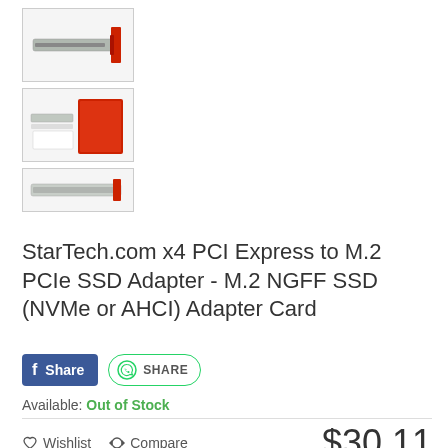[Figure (photo): Thumbnail image 1: PCI Express adapter card, top view, with red bracket]
[Figure (photo): Thumbnail image 2: Product box and components laid out, red packaging visible]
[Figure (photo): Thumbnail image 3: Low-profile bracket or card, partial view]
StarTech.com x4 PCI Express to M.2 PCIe SSD Adapter - M.2 NGFF SSD (NVMe or AHCI) Adapter Card
Available: Out of Stock
Wishlist   Compare   $30.11